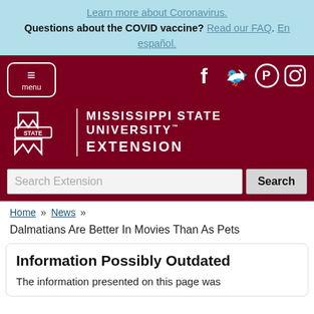Learn more about Coronavirus. Questions about the COVID vaccine? Read our FAQ. En español.
[Figure (screenshot): Mississippi State University Extension website header with maroon background, hamburger menu, social media icons (Facebook, Twitter, Pinterest, Instagram), MSU logo, and search bar]
Home » News »
Dalmatians Are Better In Movies Than As Pets
Information Possibly Outdated
The information presented on this page was